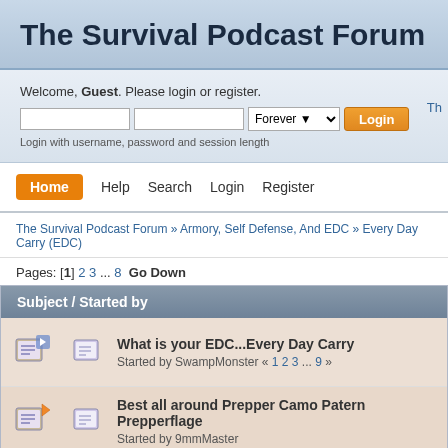The Survival Podcast Forum
Welcome, Guest. Please login or register.
Login with username, password and session length
Home  Help  Search  Login  Register
The Survival Podcast Forum » Armory, Self Defense, And EDC » Every Day Carry (EDC)
Pages: [1] 2 3 ... 8  Go Down
| Subject / Started by |
| --- |
| What is your EDC...Every Day Carry
Started by SwampMonster « 1 2 3 ... 9 » |
| Best all around Prepper Camo Patern Prepperflage
Started by 9mmMaster |